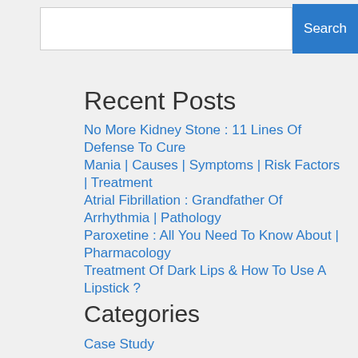Search
Recent Posts
No More Kidney Stone : 11 Lines Of Defense To Cure
Mania | Causes | Symptoms | Risk Factors | Treatment
Atrial Fibrillation : Grandfather Of Arrhythmia | Pathology
Paroxetine : All You Need To Know About | Pharmacology
Treatment Of Dark Lips & How To Use A Lipstick ?
Categories
Case Study